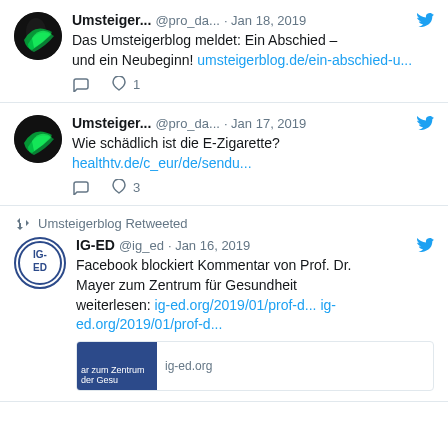Umsteiger... @pro_da... · Jan 18, 2019
Das Umsteigerblog meldet: Ein Abschied – und ein Neubeginn! umsteigerblog.de/ein-abschied-u...
♡ 1
Umsteiger... @pro_da... · Jan 17, 2019
Wie schädlich ist die E-Zigarette?
healthtv.de/c_eur/de/sendu...
♡ 3
Umsteigerblog Retweeted
IG-ED @ig_ed · Jan 16, 2019
Facebook blockiert Kommentar von Prof. Dr. Mayer zum Zentrum für Gesundheit weiterlesen: ig-ed.org/2019/01/prof-d... ig-ed.org/2019/01/prof-d...
ig-ed.org